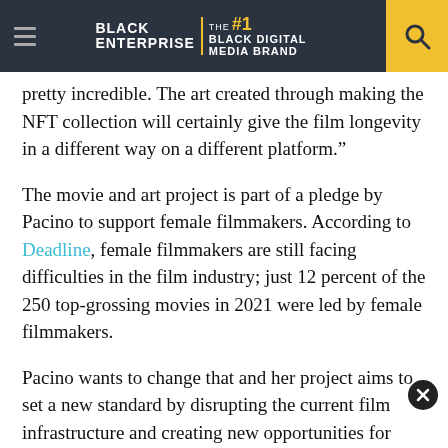BLACK ENTERPRISE | THE #1 BLACK DIGITAL MEDIA BRAND
pretty incredible. The art created through making the NFT collection will certainly give the film longevity in a different way on a different platform.”
The movie and art project is part of a pledge by Pacino to support female filmmakers. According to Deadline, female filmmakers are still facing difficulties in the film industry; just 12 percent of the 250 top-grossing movies in 2021 were led by female filmmakers.
Pacino wants to change that and her project aims to set a new standard by disrupting the current film infrastructure and creating new opportunities for women in the entertainment and film industries. After the Keepers Of The Inn collection